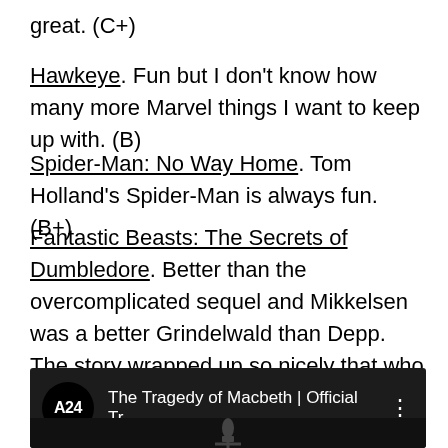great. (C+)
Hawkeye. Fun but I don't know how many more Marvel things I want to keep up with. (B)
Spider-Man: No Way Home. Tom Holland's Spider-Man is always fun. (B+)
Fantastic Beasts: The Secrets of Dumbledore. Better than the overcomplicated sequel and Mikkelsen was a better Grindelwald than Depp. The story wrapped up so nicely that who knows if there will be a fourth movie. (B)
[Figure (screenshot): YouTube video thumbnail showing A24 logo and title 'The Tragedy of Macbeth | Official Tr...' with three-dot menu icon, dark background with microphone visible at bottom]